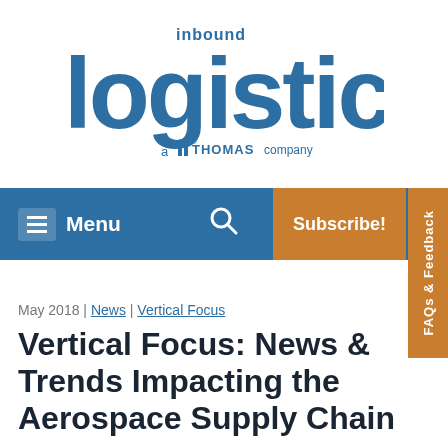[Figure (logo): Inbound Logistics logo — large bold blue 'logistics' wordmark with 'inbound' above and 'a THOMAS company' below]
Menu | Search | Subscribe! | FAQs & Feedback
May 2018 | News | Vertical Focus
Vertical Focus: News & Trends Impacting the Aerospace Supply Chain